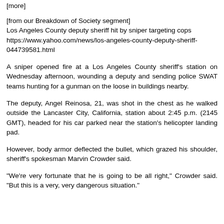[more]
[from our Breakdown of Society segment]
Los Angeles County deputy sheriff hit by sniper targeting cops
https://www.yahoo.com/news/los-angeles-county-deputy-sheriff-044739581.html
A sniper opened fire at a Los Angeles County sheriff's station on Wednesday afternoon, wounding a deputy and sending police SWAT teams hunting for a gunman on the loose in buildings nearby.
The deputy, Angel Reinosa, 21, was shot in the chest as he walked outside the Lancaster City, California, station about 2:45 p.m. (2145 GMT), headed for his car parked near the station's helicopter landing pad.
However, body armor deflected the bullet, which grazed his shoulder, sheriff's spokesman Marvin Crowder said.
"We're very fortunate that he is going to be all right," Crowder said. "But this is a very, very dangerous situation."